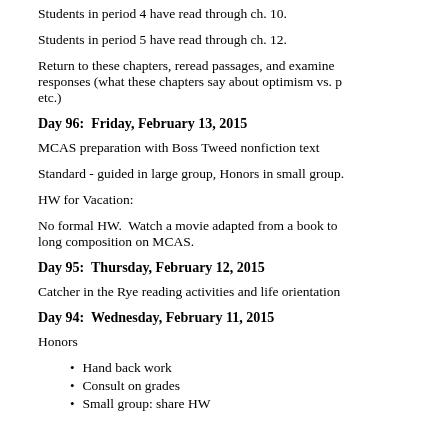Students in period 4 have read through ch. 10.
Students in period 5 have read through ch. 12.
Return to these chapters, reread passages, and examine responses (what these chapters say about optimism vs. p etc.)
Day 96:  Friday, February 13, 2015
MCAS preparation with Boss Tweed nonfiction text
Standard - guided in large group, Honors in small group.
HW for Vacation:
No formal HW.  Watch a movie adapted from a book to long composition on MCAS.
Day 95:  Thursday, February 12, 2015
Catcher in the Rye reading activities and life orientation
Day 94:  Wednesday, February 11, 2015
Honors
Hand back work
Consult on grades
Small group: share HW